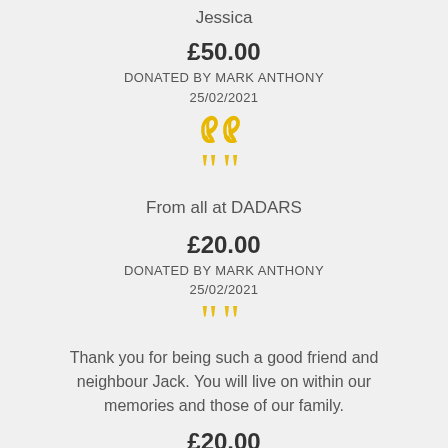Jessica
£50.00
DONATED BY MARK ANTHONY
25/02/2021
From all at DADARS
£20.00
DONATED BY MARK ANTHONY
25/02/2021
Thank you for being such a good friend and neighbour Jack. You will live on within our memories and those of our family.
£20.00
DONATED BY MARK ANTHONY